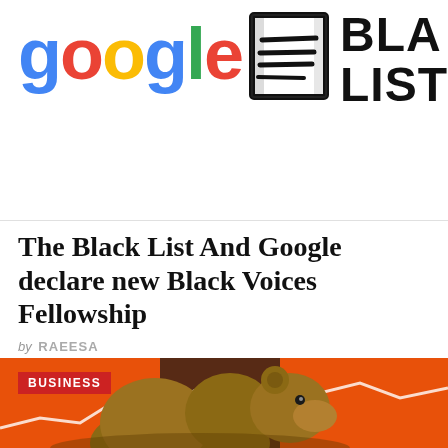[Figure (logo): Google logo in multicolor and Black List logo with stamp icon side by side on white background]
The Black List And Google declare new Black Voices Fellowship
by RAEESA
[Figure (photo): Bear in front of orange background with stock market chart, with red BUSINESS tag overlay]